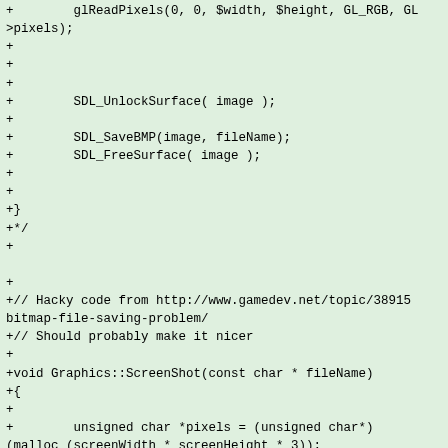+        glReadPixels(0, 0, $width, $height, GL_RGB, GL>pixels);
+
+
+
+        SDL_UnlockSurface( image );
+
+        SDL_SaveBMP(image, fileName);
+        SDL_FreeSurface( image );
+
+
+}
+*/
+
+
+// Hacky code from http://www.gamedev.net/topic/38915bitmap-file-saving-problem/
+// Should probably make it nicer
+
+void Graphics::ScreenShot(const char * fileName)
+{
+
+        unsigned char *pixels = (unsigned char*)(malloc (screenWidth * screenHeight * 3));
+